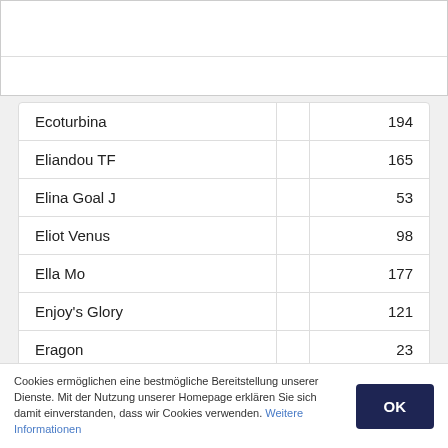|  |  |  |
| --- | --- | --- |
| Ecoturbina |  | 194 |
| Eliandou TF |  | 165 |
| Elina Goal J |  | 53 |
| Eliot Venus |  | 98 |
| Ella Mo |  | 177 |
| Enjoy's Glory |  | 121 |
| Eragon |  | 23 |
| Esther Mo |  | 121 |
Cookies ermöglichen eine bestmögliche Bereitstellung unserer Dienste. Mit der Nutzung unserer Homepage erklären Sie sich damit einverstanden, dass wir Cookies verwenden. Weitere Informationen